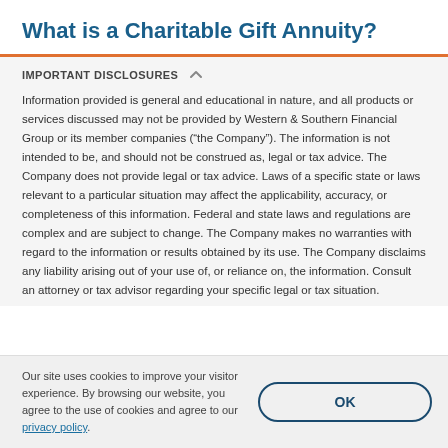What is a Charitable Gift Annuity?
IMPORTANT DISCLOSURES
Information provided is general and educational in nature, and all products or services discussed may not be provided by Western & Southern Financial Group or its member companies (“the Company”). The information is not intended to be, and should not be construed as, legal or tax advice. The Company does not provide legal or tax advice. Laws of a specific state or laws relevant to a particular situation may affect the applicability, accuracy, or completeness of this information. Federal and state laws and regulations are complex and are subject to change. The Company makes no warranties with regard to the information or results obtained by its use. The Company disclaims any liability arising out of your use of, or reliance on, the information. Consult an attorney or tax advisor regarding your specific legal or tax situation.
Our site uses cookies to improve your visitor experience. By browsing our website, you agree to the use of cookies and agree to our privacy policy.